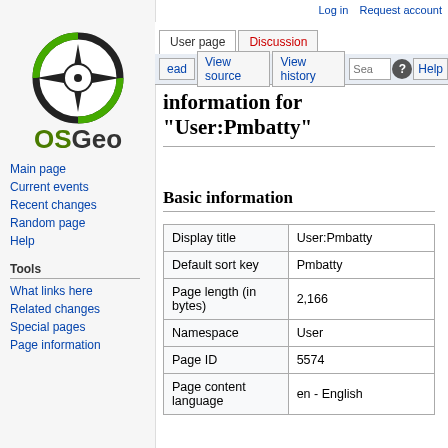Log in  Request account
[Figure (logo): OSGeo logo with compass rose icon and green OSGeo text]
Main page
Current events
Recent changes
Random page
Help
Tools
What links here
Related changes
Special pages
Page information
Information for
"User:Pmbatty"
Basic information
| Display title | User:Pmbatty |
| Default sort key | Pmbatty |
| Page length (in bytes) | 2,166 |
| Namespace | User |
| Page ID | 5574 |
| Page content language | en - English |